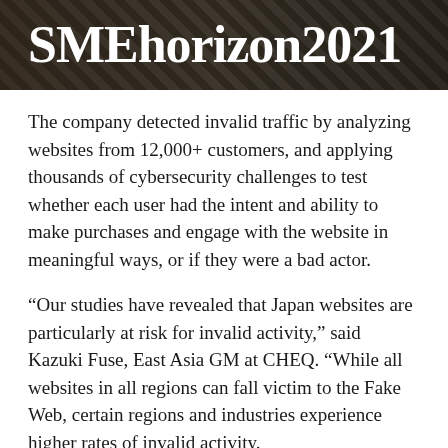[Figure (logo): SMEhorizon2021 logo on dark textured background]
The company detected invalid traffic by analyzing websites from 12,000+ customers, and applying thousands of cybersecurity challenges to test whether each user had the intent and ability to make purchases and engage with the website in meaningful ways, or if they were a bad actor.
“Our studies have revealed that Japan websites are particularly at risk for invalid activity,” said Kazuki Fuse, East Asia GM at CHEQ. “While all websites in all regions can fall victim to the Fake Web, certain regions and industries experience higher rates of invalid activity.
“This data suggests that those doing business…